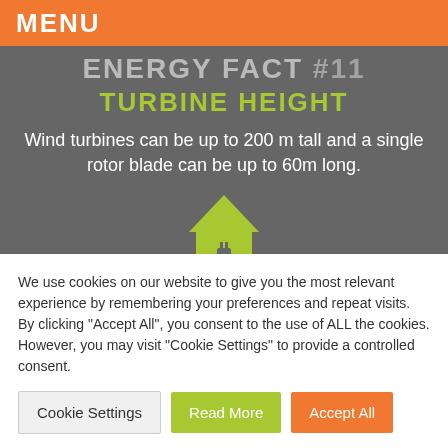MENU
ENERGY FACT #11 TURBINE HEIGHT
Wind turbines can be up to 200 m tall and a single rotor blade can be up to 60m long.
[Figure (illustration): Green house icon with a power plug symbol inside]
Enough to power approximately
91,835 HOMES
We use cookies on our website to give you the most relevant experience by remembering your preferences and repeat visits. By clicking “Accept All”, you consent to the use of ALL the cookies. However, you may visit "Cookie Settings" to provide a controlled consent.
Cookie Settings
Read More
Accept All